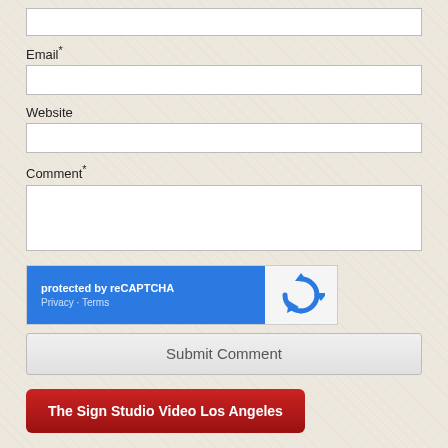Email*
[Figure (screenshot): Empty email input field]
Website
[Figure (screenshot): Empty website input field]
Comment*
[Figure (screenshot): Empty comment textarea]
[Figure (screenshot): reCAPTCHA widget showing 'protected by reCAPTCHA' with Privacy and Terms links and reCAPTCHA logo]
[Figure (screenshot): Submit Comment button]
[Figure (screenshot): Red button labeled 'The Sign Studio Video Los Angeles']
Subscribe by Email